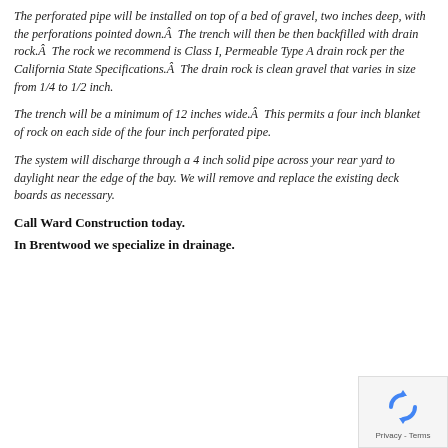The perforated pipe will be installed on top of a bed of gravel, two inches deep, with the perforations pointed down.Â  The trench will then be then backfilled with drain rock.Â  The rock we recommend is Class I, Permeable Type A drain rock per the California State Specifications.Â  The drain rock is clean gravel that varies in size from 1/4 to 1/2 inch.
The trench will be a minimum of 12 inches wide.Â  This permits a four inch blanket of rock on each side of the four inch perforated pipe.
The system will discharge through a 4 inch solid pipe across your rear yard to daylight near the edge of the bay. We will remove and replace the existing deck boards as necessary.
Call Ward Construction today.
In Brentwood we specialize in drainage.
[Figure (logo): reCAPTCHA privacy badge with circular arrow logo and Privacy - Terms label]